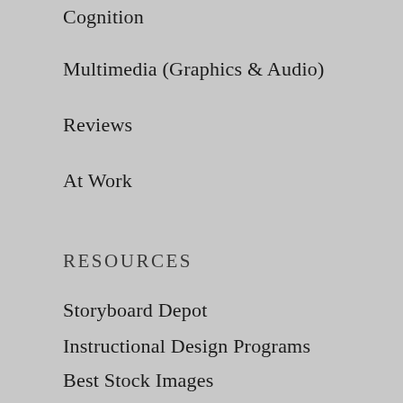Cognition
Multimedia (Graphics & Audio)
Reviews
At Work
RESOURCES
Storyboard Depot
Instructional Design Programs
Best Stock Images
PowerPoint Grids
eLearning Examples
Glossary of Online Learning
Graphic Editing Tools